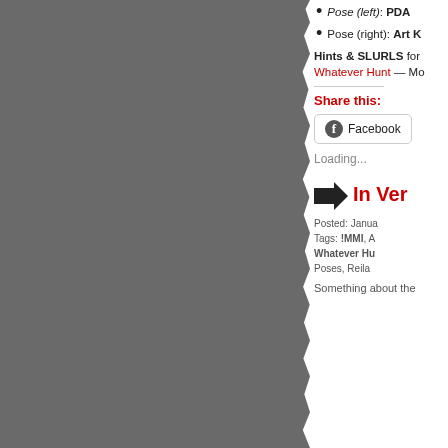[Figure (photo): Dark grey torn/rough-edged image panel on the left side of the page]
Pose (left): PDA
Pose (right): Art K
Hints & SLURLS for Whatever Hunt — Mo
Share this:
Facebook
Loading...
In Ver
Posted: Janua
Tags: !MMI, A Whatever Hu Poses, Reila
Something about the